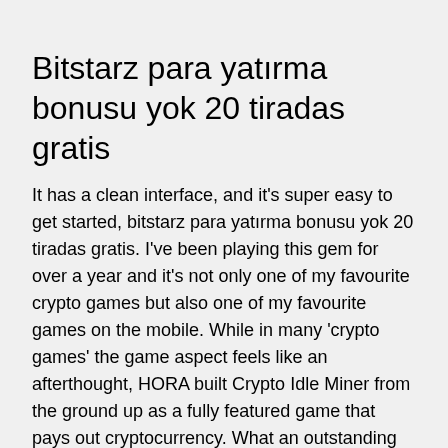Bitstarz para yatırma bonusu yok 20 tiradas gratis
It has a clean interface, and it's super easy to get started, bitstarz para yatırma bonusu yok 20 tiradas gratis. I've been playing this gem for over a year and it's not only one of my favourite crypto games but also one of my favourite games on the mobile. While in many 'crypto games' the game aspect feels like an afterthought, HORA built Crypto Idle Miner from the ground up as a fully featured game that pays out cryptocurrency. What an outstanding experience!
The main hero of the game is Daniel D'Alien who is a fast runner passing one level after another, bitstarz para yatırma bonusu yok 20